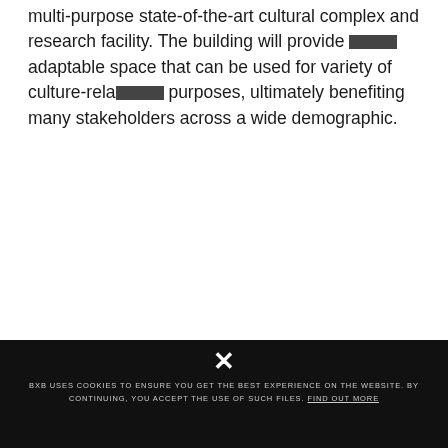multi-purpose state-of-the-art cultural complex and research facility. The building will provide adaptable space that can be used for variety of culture-related purposes, ultimately benefiting many stakeholders across a wide demographic.
BXB USES COOKIES TO ENSURE YOU GET THE BEST EXPERIENCE ON THE WEBSITE. BY CONTINUING, YOU ACCEPT THE USE OF SUCH FILES. FIND OUT MORE